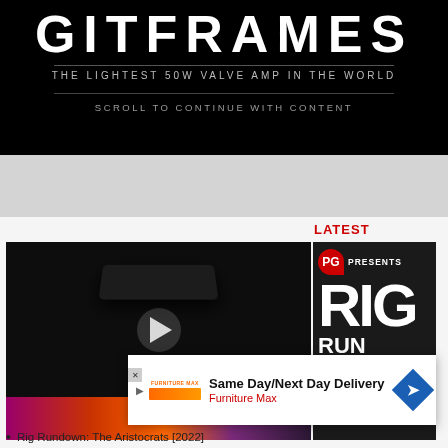[Figure (advertisement): Black banner advertisement for a guitar amplifier. Large stylized text logo at top, tagline 'THE LIGHTEST 50W VALVE AMP IN THE WORLD', divider line, then 'SCROLL TO CONTINUE WITH CONTENT' in spaced caps.]
[Figure (screenshot): Video player thumbnail showing a dark guitar pedal/amp product. White play button circle in center. Bottom strip shows colorful live performance footage. Overlapping right panel shows PG Presents Rig Rundown branding in white text on dark background.]
LATEST
[Figure (advertisement): Ad overlay: Same Day/Next Day Delivery - Furniture Max, with blue diamond arrow icon and orange/red logo.]
Rig Rundown: The Aristocrats [2022]